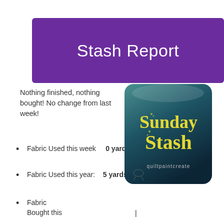Stash Report
Nothing finished, nothing bought! No change from last week!
Fabric Used this week   0 yards
Fabric Used this year:   5 yards
Fabric Bought this
[Figure (logo): Sunday Stash logo with yellow stylized text on dark teal rounded rectangle background, with 'quiltpaintcreate' text at bottom]